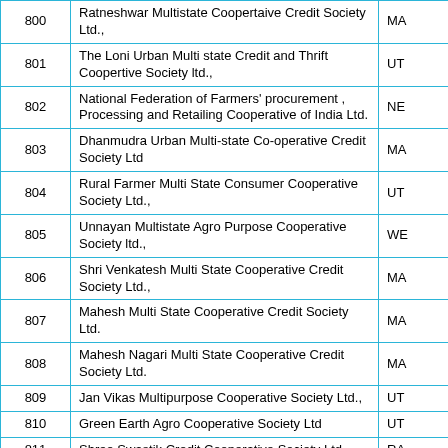|  | Name | State |
| --- | --- | --- |
| 800 | Ratneshwar Multistate Coopertaive Credit Society Ltd., | MA |
| 801 | The Loni Urban Multi state Credit and Thrift Coopertive Society ltd., | UT |
| 802 | National Federation of Farmers' procurement , Processing and Retailing Cooperative of India Ltd. | NE |
| 803 | Dhanmudra Urban Multi-state Co-operative Credit Society Ltd | MA |
| 804 | Rural Farmer Multi State Consumer Cooperative Society Ltd., | UT |
| 805 | Unnayan Multistate Agro Purpose Cooperative Society ltd., | WE |
| 806 | Shri Venkatesh Multi State Cooperative Credit Society Ltd., | MA |
| 807 | Mahesh Multi State Cooperative Credit Society Ltd. | MA |
| 808 | Mahesh Nagari Multi State Cooperative Credit Society Ltd. | MA |
| 809 | Jan Vikas Multipurpose Cooperative Society Ltd., | UT |
| 810 | Green Earth Agro Cooperative Society Ltd | UT |
| 811 | Shree Swastik Credit Cooperative Society Ltd., | RA |
| 812 | Jeevan Shree Credit Cooperative Society ltd., | RA |
| 813 | Bharath Multistate Cooperative Housing Society Ltd., | TA |
| 814 | Jakraya Multi State Coopertive Credit Society Ltd., | MA |
| 815 | Nagar Urban Cooperative Bank Ltd., | GU |
| 816 | Radhika Agricultural Cooperative Society Ltd | UT |
| 817 | Central Govt. Undertakings Employees' Cooperative Thrift & Credit Society Ltd., | TA |
| 818 | Food Corporation of India Employees' Cooperative Credit Society (NEZ) Ltd. | AS |
| 819 | Sangamam Women's Multipurpose Thrift & Credit Cooperative Society Ltd. | TA |